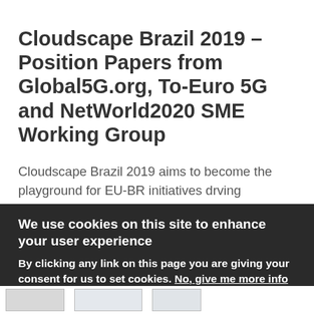Cloudscape Brazil 2019 – Position Papers from Global5G.org, To-Euro 5G and NetWorld2020 SME Working Group
Cloudscape Brazil 2019 aims to become the playground for EU-BR initiatives drving innovation in ICT through collaborative work between outstanding research institutes, large enterprises and SMEs.
We use cookies on this site to enhance your user experience
By clicking any link on this page you are giving your consent for us to set cookies. No, give me more info
[Figure (other): Partial logos/images visible at bottom of page]